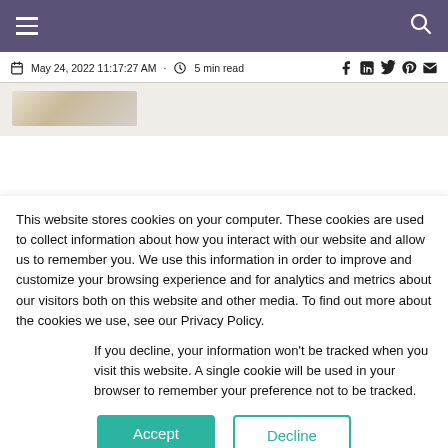Navigation bar with hamburger menu and search icon
May 24, 2022 11:17:27 AM · 5 min read
[Figure (photo): Partial image preview showing a light-colored object on a beige/cream background]
This website stores cookies on your computer. These cookies are used to collect information about how you interact with our website and allow us to remember you. We use this information in order to improve and customize your browsing experience and for analytics and metrics about our visitors both on this website and other media. To find out more about the cookies we use, see our Privacy Policy.
If you decline, your information won’t be tracked when you visit this website. A single cookie will be used in your browser to remember your preference not to be tracked.
Accept
Decline